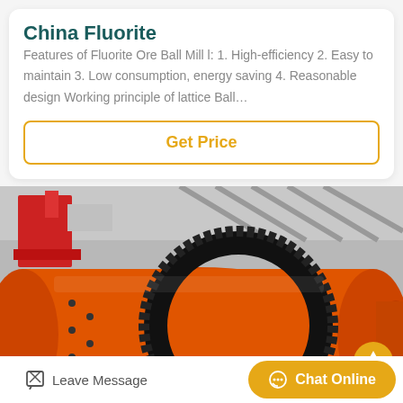China Fluorite
Features of Fluorite Ore Ball Mill l: 1. High-efficiency 2. Easy to maintain 3. Low consumption, energy saving 4. Reasonable design Working principle of lattice Ball…
Get Price
[Figure (photo): Industrial orange ball mill machine with large black gear ring in a factory setting]
Leave Message
Chat Online